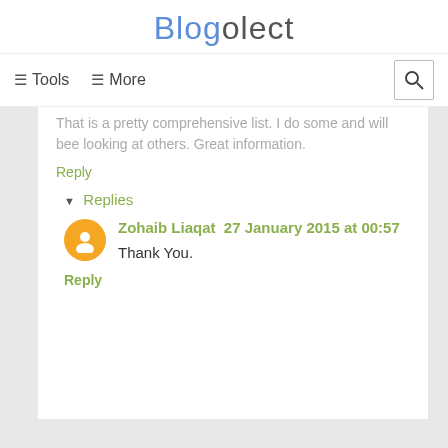Blogolect
≡ Tools  ≡ More
That is a pretty comprehensive list. I do some and will bee looking at others. Great information.
Reply
▾ Replies
Zohaib Liaqat  27 January 2015 at 00:57
Thank You.
Reply